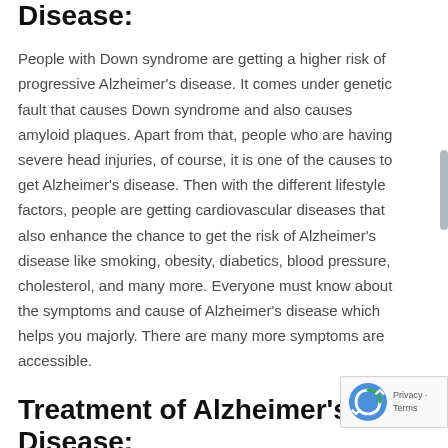Disease:
People with Down syndrome are getting a higher risk of progressive Alzheimer's disease. It comes under genetic fault that causes Down syndrome and also causes amyloid plaques. Apart from that, people who are having severe head injuries, of course, it is one of the causes to get Alzheimer's disease. Then with the different lifestyle factors, people are getting cardiovascular diseases that also enhance the chance to get the risk of Alzheimer's disease like smoking, obesity, diabetics, blood pressure, cholesterol, and many more. Everyone must know about the symptoms and cause of Alzheimer's disease which helps you majorly. There are many more symptoms are accessible.
Treatment of Alzheimer's Disease:
People with Alzheimer's disease can realize the disease by symptoms easily such as memory loss and facing difficulties while solving issues, trouble with speed and writing, reduced habit of judgment, and decrease hygiene level, mood and